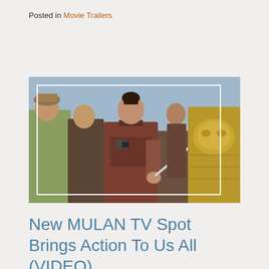Posted in Movie Trailers
[Figure (photo): Scene from Disney's Mulan live-action film showing the lead actress in traditional Chinese warrior armor holding a sword, surrounded by other soldiers, with a white rectangular overlay border on the image.]
New MULAN TV Spot Brings Action To Us All (VIDEO)